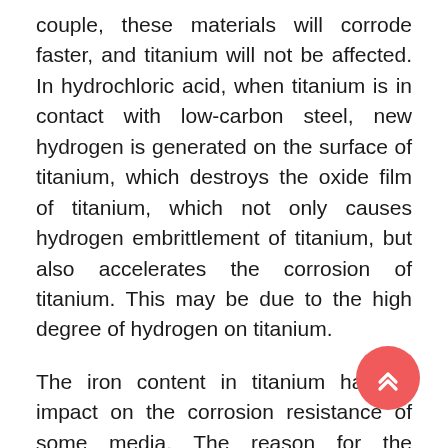couple, these materials will corrode faster, and titanium will not be affected. In hydrochloric acid, when titanium is in contact with low-carbon steel, new hydrogen is generated on the surface of titanium, which destroys the oxide film of titanium, which not only causes hydrogen embrittlement of titanium, but also accelerates the corrosion of titanium. This may be due to the high degree of hydrogen on titanium.
The iron content in titanium has an impact on the corrosion resistance of some media. The reason for the increase in iron is that in addition to the raw materials, it is often that the contaminated iron penetrates into the weld bead during welding, which increases the local iron content in the bead. Time corrosion has a non-uniform nature. When using iron to support titanium equipment, iron